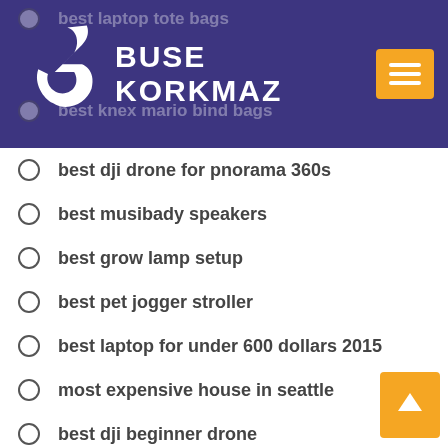BUSE KORKMAZ
best laptop tote bags
best knex mario bind bags
best dji drone for pnorama 360s
best musibady speakers
best grow lamp setup
best pet jogger stroller
best laptop for under 600 dollars 2015
most expensive house in seattle
best dji beginner drone
best wireless earbuds fro iphone 7
best smoke removal air purifier
best adjustable laptop stand